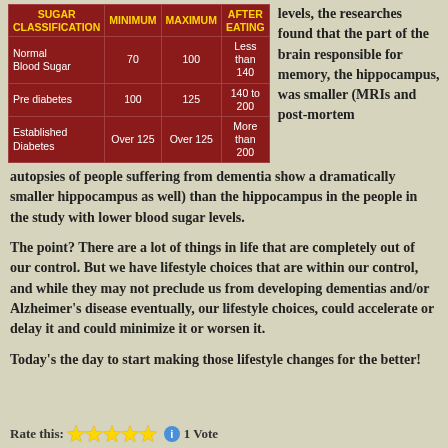| SUGAR CLASSIFICATION | MINIMUM | MAXIMUM | AFTER EATING |
| --- | --- | --- | --- |
| Normal Blood Sugar | 70 | 100 | Less than 140 |
| Pre diabetes | 100 | 125 | 140 to 200 |
| Established Diabetes | Over 125 | Over 125 | More than 200 |
levels, the researches found that the part of the brain responsible for memory, the hippocampus, was smaller (MRIs and post-mortem autopsies of people suffering from dementia show a dramatically smaller hippocampus as well) than the hippocampus in the people in the study with lower blood sugar levels.
The point? There are a lot of things in life that are completely out of our control. But we have lifestyle choices that are within our control, and while they may not preclude us from developing dementias and/or Alzheimer's disease eventually, our lifestyle choices, could accelerate or delay it and could minimize it or worsen it.
Today's the day to start making those lifestyle changes for the better!
Rate this: ★★★★★ ⓘ 1 Vote